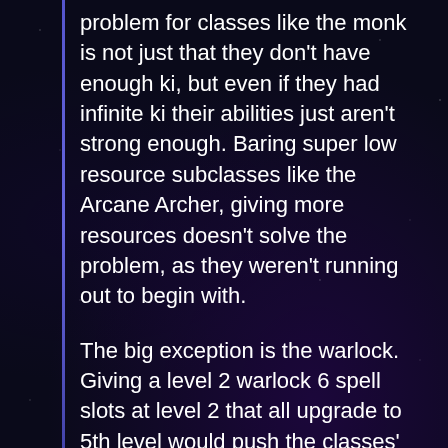problem for classes like the monk is not just that they don't have enough ki, but even if they had infinite ki their abilities just aren't strong enough. Baring super low resource subclasses like the Arcane Archer, giving more resources doesn't solve the problem, as they weren't running out to begin with.
The big exception is the warlock. Giving a level 2 warlock 6 spell slots at level 2 that all upgrade to 5th level would push the classes' power immensely. I'd probably put them in 1st place.
Reply